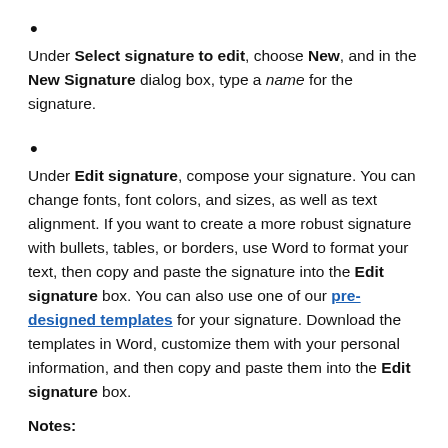Under Select signature to edit, choose New, and in the New Signature dialog box, type a name for the signature.
Under Edit signature, compose your signature. You can change fonts, font colors, and sizes, as well as text alignment. If you want to create a more robust signature with bullets, tables, or borders, use Word to format your text, then copy and paste the signature into the Edit signature box. You can also use one of our pre-designed templates for your signature. Download the templates in Word, customize them with your personal information, and then copy and paste them into the Edit signature box.
Notes: